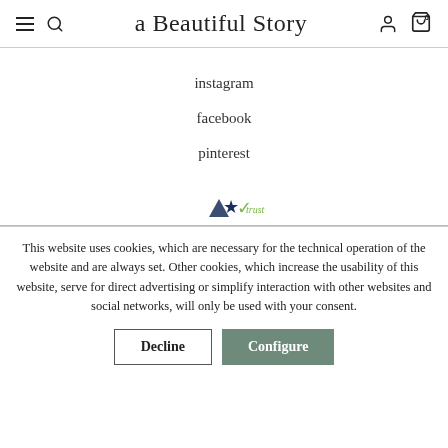a Beautiful Story
instagram
facebook
pinterest
[Figure (logo): Trust badge with a navy star and a green checkmark with the word 'trust']
This website uses cookies, which are necessary for the technical operation of the website and are always set. Other cookies, which increase the usability of this website, serve for direct advertising or simplify interaction with other websites and social networks, will only be used with your consent.
Decline | Configure